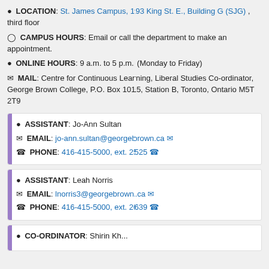📍 LOCATION: St. James Campus, 193 King St. E., Building G (SJG) , third floor
🕐 CAMPUS HOURS: Email or call the department to make an appointment.
🕛 ONLINE HOURS: 9 a.m. to 5 p.m. (Monday to Friday)
✉ MAIL: Centre for Continuous Learning, Liberal Studies Co-ordinator, George Brown College, P.O. Box 1015, Station B, Toronto, Ontario M5T 2T9
ASSISTANT: Jo-Ann Sultan
EMAIL: jo-ann.sultan@georgebrown.ca
PHONE: 416-415-5000, ext. 2525
ASSISTANT: Leah Norris
EMAIL: lnorris3@georgebrown.ca
PHONE: 416-415-5000, ext. 2639
CO-ORDINATOR: Shirin Kh...